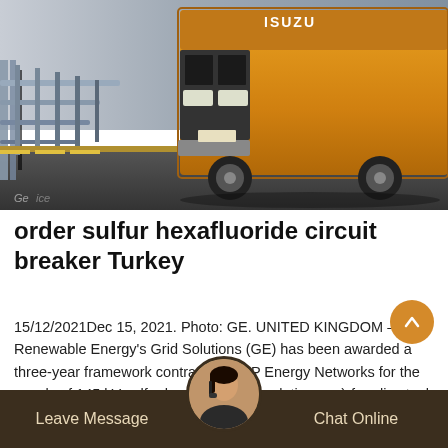[Figure (photo): An orange Isuzu truck driving on a road with guardrails visible on the left side. Photo credit: GE.]
order sulfur hexafluoride circuit breaker Turkey
15/12/2021Dec 15, 2021. Photo: GE. UNITED KINGDOM – GE Renewable Energy's Grid Solutions (GE) has been awarded a three-year framework contract with SP Energy Networks for the supply of 145 kV sulfur hexafluoride (insulating gas)-free live tank circuit-breakers utilizing GE's g3 gas as the insulating and switching dielectric medium. This news follows the
Leave Message    Chat Online